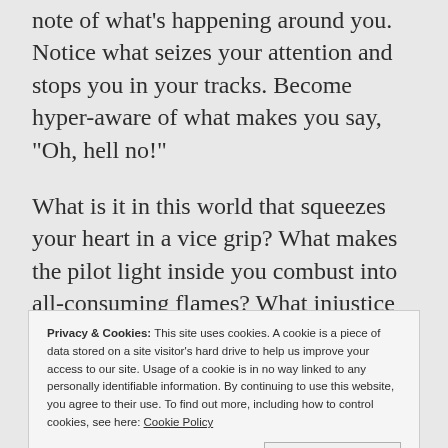note of what's happening around you. Notice what seizes your attention and stops you in your tracks. Become hyper-aware of what makes you say, "Oh, hell no!"
What is it in this world that squeezes your heart in a vice grip? What makes the pilot light inside you combust into all-consuming flames? What injustice threatens your sanity? What can you not stand to see happen even one more time to one
Privacy & Cookies: This site uses cookies. A cookie is a piece of data stored on a site visitor's hard drive to help us improve your access to our site. Usage of a cookie is in no way linked to any personally identifiable information. By continuing to use this website, you agree to their use. To find out more, including how to control cookies, see here: Cookie Policy
and a looming sense of hopelessness. By being